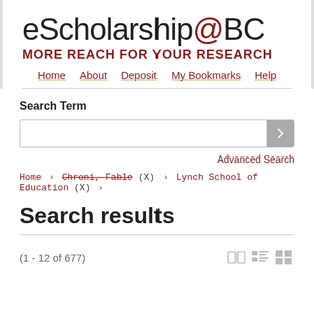eScholarship@BC MORE REACH FOR YOUR RESEARCH
Home · About · Deposit · My Bookmarks · Help
Search Term
Advanced Search
Home › Chroni, Fable (X) › Lynch School of Education (X) ›
Search results
(1 - 12 of 677)